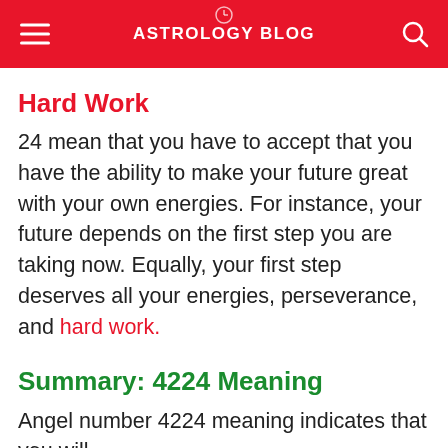ASTROLOGY BLOG
Hard Work
24 mean that you have to accept that you have the ability to make your future great with your own energies. For instance, your future depends on the first step you are taking now. Equally, your first step deserves all your energies, perseverance, and hard work.
Summary: 4224 Meaning
Angel number 4224 meaning indicates that you will